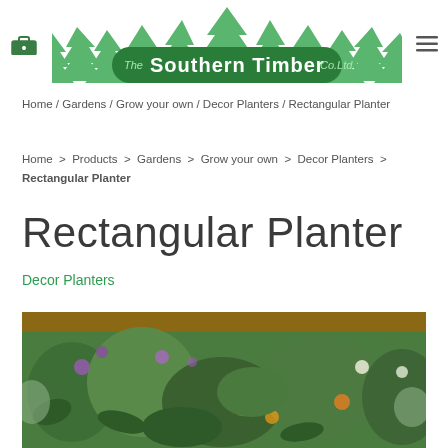The Southern Timber Co.Ltd (logo with trees)
Home / Gardens / Grow your own / Decor Planters / Rectangular Planter
Home > Products > Gardens > Grow your own > Decor Planters > Rectangular Planter
Rectangular Planter
Decor Planters
[Figure (photo): Rectangular wooden planter filled with a dense mix of flowering plants and greenery including purple, orange and green foliage]